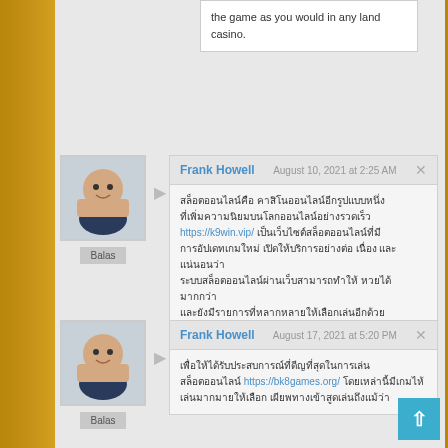the game as you would in any land casino.
Frank Howell
August 10, 2021 at 2:25 AM
[Thai text] https://k9win.vip/ [Thai text continued]
Frank Howell
August 17, 2021 at 5:20 PM
[Thai text] https://bk8games.org/ [Thai text continued]